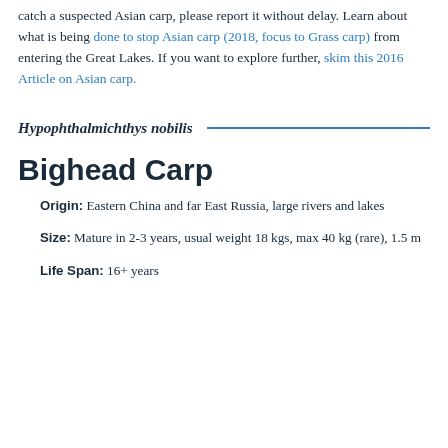catch a suspected Asian carp, please report it without delay. Learn about what is being done to stop Asian carp (2018, focus to Grass carp) from entering the Great Lakes. If you want to explore further, skim this 2016 Article on Asian carp.
Hypophthalmichthys nobilis
Bighead Carp
Origin: Eastern China and far East Russia, large rivers and lakes
Size: Mature in 2-3 years, usual weight 18 kgs, max 40 kg (rare), 1.5 m
Life Span: 16+ years